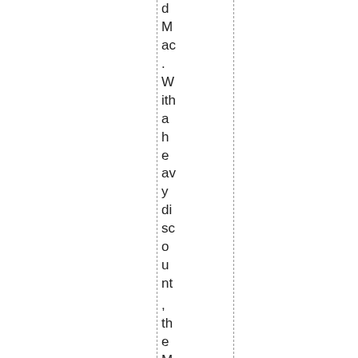d Mac. With a heavy discount, the Mac was the same price